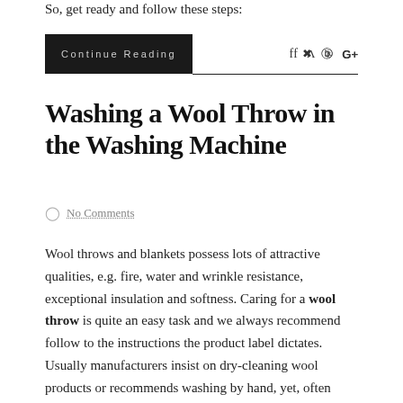So, get ready and follow these steps:
Continue Reading        f  ✦  ⊕  G+
Washing a Wool Throw in the Washing Machine
No Comments
Wool throws and blankets possess lots of attractive qualities, e.g. fire, water and wrinkle resistance, exceptional insulation and softness. Caring for a wool throw is quite an easy task and we always recommend follow to the instructions the product label dictates. Usually manufacturers insist on dry-cleaning wool products or recommends washing by hand, yet, often wool throws are fine to wash in the